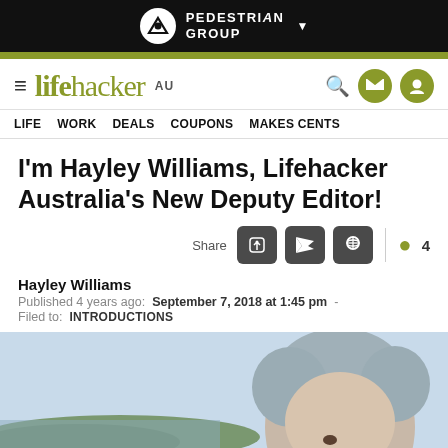PEDESTRIAN GROUP
lifehacker AU
LIFE  WORK  DEALS  COUPONS  MAKES CENTS
I'm Hayley Williams, Lifehacker Australia's New Deputy Editor!
Share
4
Hayley Williams
Published 4 years ago:  September 7, 2018 at 1:45 pm  -
Filed to:  INTRODUCTIONS
[Figure (photo): Photo of Hayley Williams, a person with short grayish-blue hair, shown from mid-face up against a light sky background with distant landscape.]